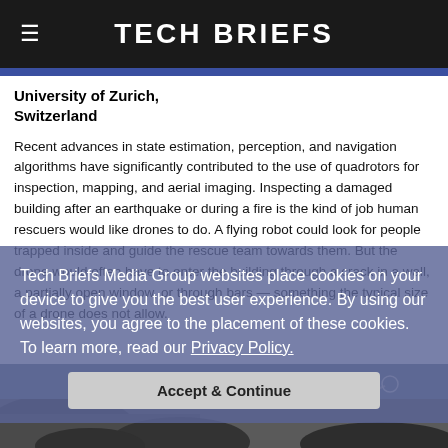Tech Briefs
University of Zurich, Switzerland
Recent advances in state estimation, perception, and navigation algorithms have significantly contributed to the use of quadrotors for inspection, mapping, and aerial imaging. Inspecting a damaged building after an earthquake or during a fire is the kind of job human rescuers would like drones to do. A flying robot could look for people trapped inside and guide the rescue team towards them. But the drone would often have to enter the building through a crack in a wall, a partially open window, or through bars — something the typical size of a drone does not allow.
Tech Briefs Media Group websites place cookies on your device to give you the best user experience. By using our websites, you agree to the placement of these cookies. To learn more, read our Privacy Policy.
[Figure (photo): Outdoor aerial photo showing a drone or quadrotor over rocky/mountainous terrain with visible mechanical components.]